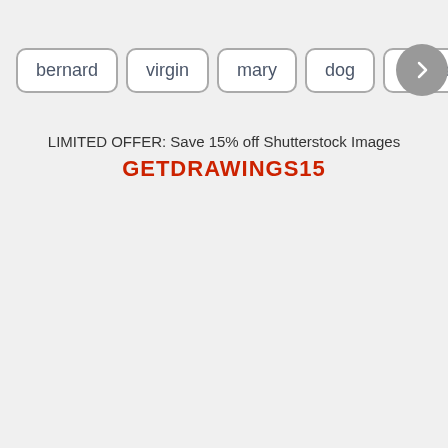bernard
virgin
mary
dog
circular
jos►p
LIMITED OFFER: Save 15% off Shutterstock Images
GETDRAWINGS15